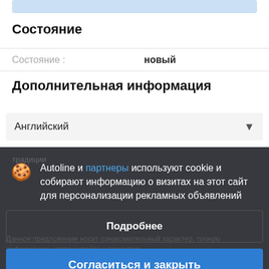[Figure (screenshot): Blue highlighted bar at top of page, partial UI element]
Состояние
Состояние : новый
Дополнительная информация
Английский (dropdown)
Autoline и партнеры используют cookie и собирают информацию о визитах на этот сайт для персонализации рекламных объявлений
Подробнее
Согласиться и закрыть